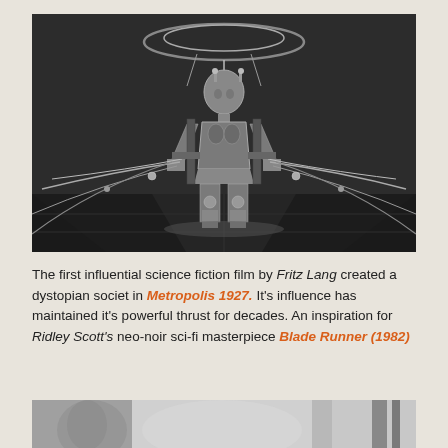[Figure (photo): Black and white still from Metropolis (1927) showing the iconic female robot (Maria/Maschinenmensch) seated on a throne-like chair with cables/wires radiating outward and circular halo above]
The first influential science fiction film by Fritz Lang created a dystopian societ in Metropolis 1927. It's influence has maintained it's powerful thrust for decades. An inspiration for Ridley Scott's neo-noir sci-fi masterpiece Blade Runner (1982)
[Figure (photo): Black and white still from Blade Runner (1982), partial view showing blurred figures]